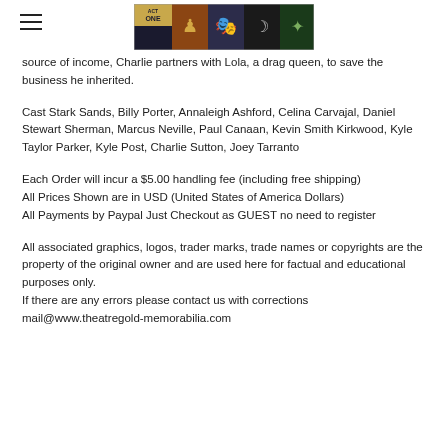[hamburger menu icon] [Act One theatre memorabilia logo banner image]
source of income, Charlie partners with Lola, a drag queen, to save the business he inherited.
Cast Stark Sands, Billy Porter, Annaleigh Ashford, Celina Carvajal, Daniel Stewart Sherman, Marcus Neville, Paul Canaan, Kevin Smith Kirkwood, Kyle Taylor Parker, Kyle Post, Charlie Sutton, Joey Tarranto
Each Order will incur a $5.00 handling fee (including free shipping)
All Prices Shown are in USD (United States of America Dollars)
All Payments by Paypal Just Checkout as GUEST no need to register
All associated graphics, logos, trader marks, trade names or copyrights are the property of the original owner and are used here for factual and educational purposes only.
If there are any errors please contact us with corrections mail@www.theatregold-memorabilia.com